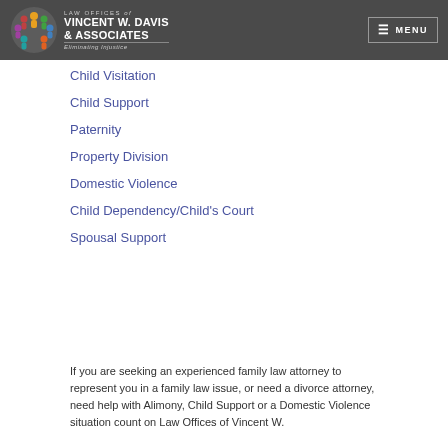LAW OFFICES of VINCENT W. DAVIS & ASSOCIATES — Eliminating Injustice | MENU
Child Visitation
Child Support
Paternity
Property Division
Domestic Violence
Child Dependency/Child's Court
Spousal Support
If you are seeking an experienced family law attorney to represent you in a family law issue, or need a divorce attorney, need help with Alimony, Child Support or a Domestic Violence situation count on Law Offices of Vincent W.